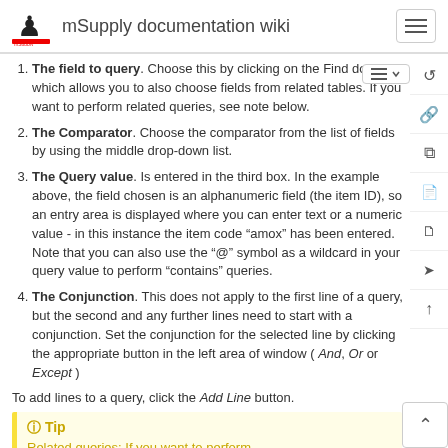mSupply documentation wiki
The field to query. Choose this by clicking on the Find down list which allows you to also choose fields from related tables. If you want to perform related queries, see note below.
The Comparator. Choose the comparator from the list of fields by using the middle drop-down list.
The Query value. Is entered in the third box. In the example above, the field chosen is an alphanumeric field (the item ID), so an entry area is displayed where you can enter text or a numeric value - in this instance the item code “amox” has been entered. Note that you can also use the “@” symbol as a wildcard in your query value to perform “contains” queries.
The Conjunction. This does not apply to the first line of a query, but the second and any further lines need to start with a conjunction. Set the conjunction for the selected line by clicking the appropriate button in the left area of window ( And, Or or Except )
To add lines to a query, click the Add Line button.
Tip
Related queries: If you want to perform